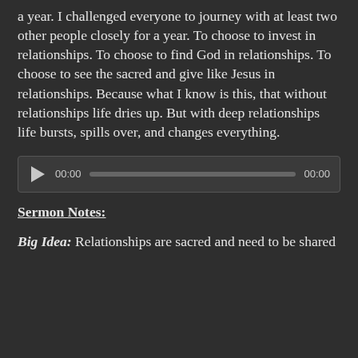a year. I challenged everyone to journey with at least two other people closely for a year. To choose to invest in relationships. To choose to find God in relationships. To choose to see the sacred and give like Jesus in relationships. Because what I know is this, that without relationships life dries up. But with deep relationships life bursts, spills over, and changes everything.
[Figure (other): Audio player widget with play button, time display showing 00:00, progress bar, and end time showing 00:00]
Sermon Notes:
Big Idea: Relationships are sacred and need to be shared